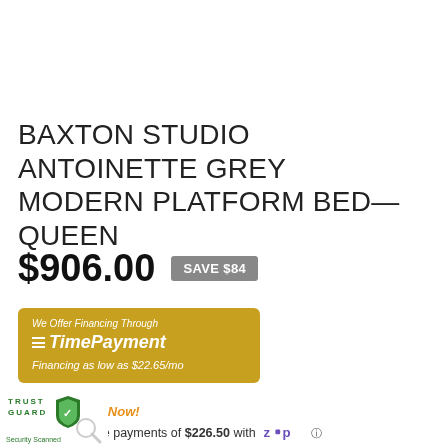BAXTON STUDIO ANTOINETTE GREY MODERN PLATFORM BED—QUEEN
$906.00  SAVE $84
[Figure (infographic): TimePayment financing banner: 'We Offer Financing Through TimePayment. Financing as low as $22.65/mo']
Click to Apply Now!
or 4 interest-free payments of $226.50 with Zip ⓘ
[Figure (logo): TrustGuard Security Scanned badge with shield icon]